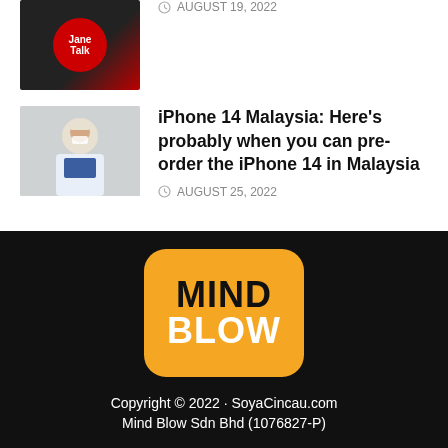[Figure (photo): Thumbnail image with red circular logo on dark background, partially visible at top]
AUGUST 19, 2022
[Figure (photo): Thumbnail of a woman wearing a hijab and mask holding a phone in what appears to be an Apple Store]
iPhone 14 Malaysia: Here's probably when you can pre-order the iPhone 14 in Malaysia
AUGUST 25, 2022
[Figure (logo): Mind Blow logo: orange rounded rectangle with MIND in black and BLOW in white bold text]
Copyright © 2022 · SoyaCincau.com
Mind Blow Sdn Bhd (1076827-P)
ADVERTISE
DISCLAIMER